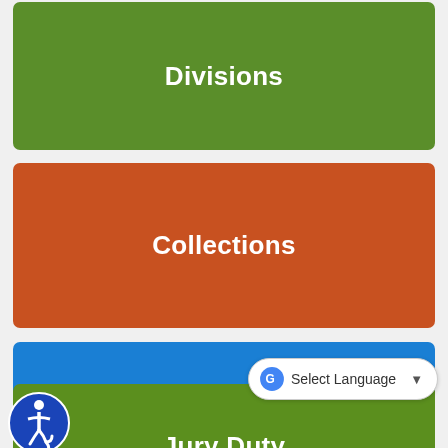Divisions
Collections
Animal Violations
Jury Duty
City Home Page
[Figure (logo): Accessibility icon - wheelchair user in blue circle]
Select Language